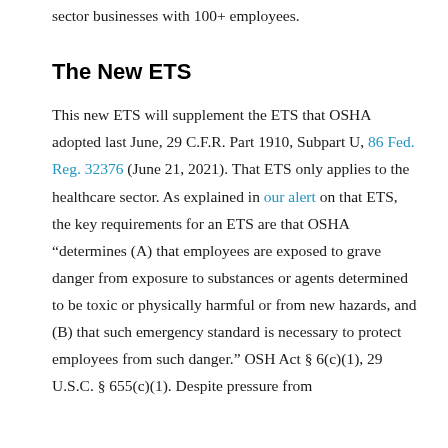sector businesses with 100+ employees.
The New ETS
This new ETS will supplement the ETS that OSHA adopted last June, 29 C.F.R. Part 1910, Subpart U, 86 Fed. Reg. 32376 (June 21, 2021). That ETS only applies to the healthcare sector. As explained in our alert on that ETS, the key requirements for an ETS are that OSHA “determines (A) that employees are exposed to grave danger from exposure to substances or agents determined to be toxic or physically harmful or from new hazards, and (B) that such emergency standard is necessary to protect employees from such danger.” OSH Act § 6(c)(1), 29 U.S.C. § 655(c)(1). Despite pressure from